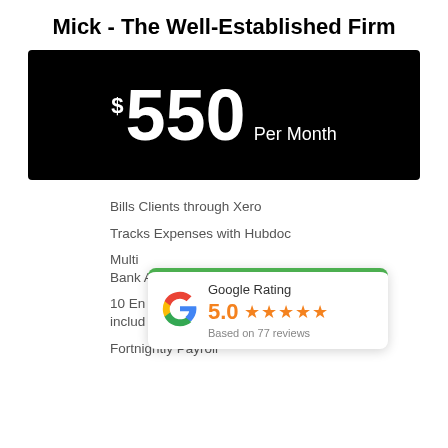Mick - The Well-Established Firm
[Figure (infographic): Black banner showing price: $550 Per Month]
Bills Clients through Xero
Tracks Expenses with Hubdoc
Multiple Bank Accounts
10 Employees included
Fortnightly Payroll
[Figure (infographic): Google Rating card showing 5.0 stars based on 77 reviews]